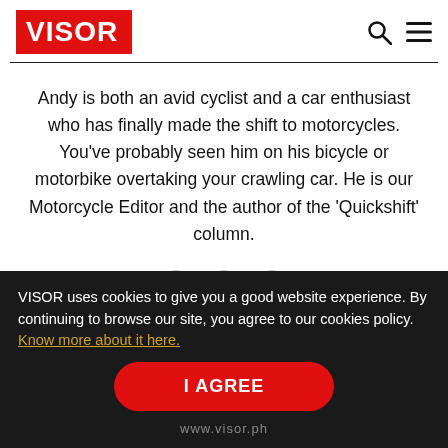VISOR
Andy is both an avid cyclist and a car enthusiast who has finally made the shift to motorcycles. You've probably seen him on his bicycle or motorbike overtaking your crawling car. He is our Motorcycle Editor and the author of the 'Quickshift' column.
VISOR uses cookies to give you a good website experience. By continuing to browse our site, you agree to our cookies policy. Know more about it here.
I AGREE